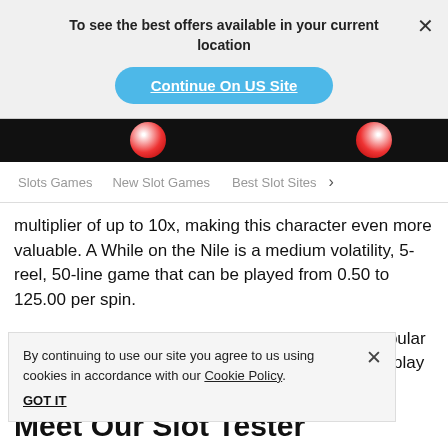To see the best offers available in your current location
Continue On US Site
[Figure (screenshot): Dark banner with a red and white ball/globe image on black background]
Slots Games   New Slot Games   Best Slot Sites >
multiplier of up to 10x, making this character even more valuable. A While on the Nile is a medium volatility, 5-reel, 50-line game that can be played from 0.50 to 125.00 per spin.
There’s no de-Nile that A While on the Nile is a popular game. so visit any of the top online slots sites and play it
By continuing to use our site you agree to us using cookies in accordance with our Cookie Policy. GOT IT
Meet Our Slot Tester